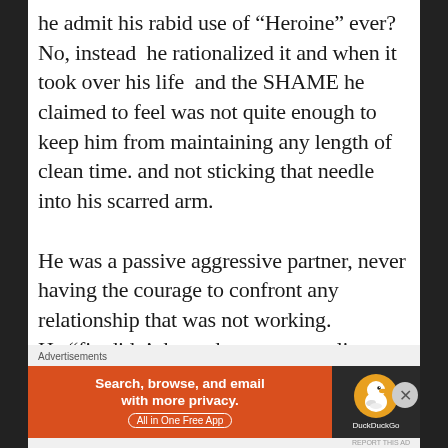he admit his rabid use of “Heroine” ever?  No, instead  he rationalized it and when it took over his life  and the SHAME he claimed to feel was not quite enough to keep him from maintaining any length of clean time. and not sticking that needle into his scarred arm.

He was a passive aggressive partner, never having the courage to confront any relationship that was not working.
[Figure (other): DuckDuckGo advertisement banner with orange background on left reading 'Search, browse, and email with more privacy. All in One Free App' and dark background on right with DuckDuckGo duck logo]